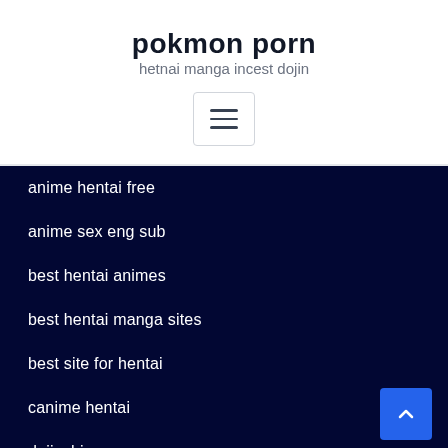pokmon porn
hetnai manga incest dojin
anime hentai free
anime sex eng sub
best hentai animes
best hentai manga sites
best site for hentai
canime hentai
dojinchi
doujin 18